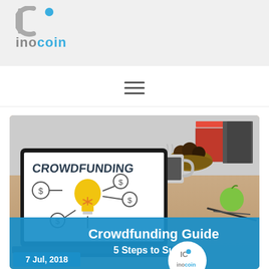IC inocoin
[Figure (logo): IC logo mark with dot and inocoin text in blue and grey]
[Figure (screenshot): Laptop showing crowdfunding concept illustration with lightbulb and dollar signs, with text overlay: Crowdfunding Guide 5 Steps to Success, dated 7 Jul, 2018, with inocoin logo]
Crowdfunding Guide 5 Steps to Success
7 Jul, 2018